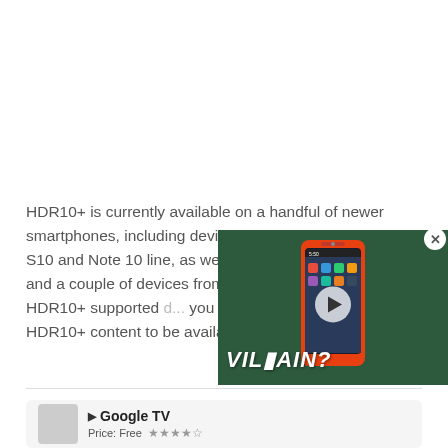[Figure (other): White blank area at top of page (advertisement or image placeholder)]
HDR10+ is currently available on a handful of newer smartphones, including devices from Samsung Galaxy S10 and Note 10 line, as well as OnePlus 7 and 7T/Pro and a couple of devices from Oppo and... full list of HDR10+ supported... you own one of these smartphones... HDR10+ content to be availab...
[Figure (screenshot): Video overlay showing a smartphone (orange/red) against green background with text VILLAIN? and a play button. Close button (X) in top right corner.]
Google TV
Price: Free ★★★★☆